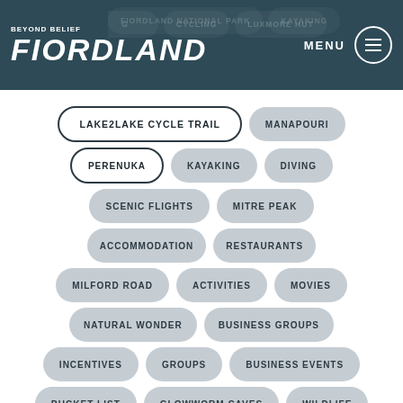[Figure (screenshot): Beyond Belief Fiordland website navigation page showing logo and menu tags including Lake2Lake Cycle Trail, Manapouri, Perenuka, Kayaking, Diving, Scenic Flights, Mitre Peak, Accommodation, Restaurants, Milford Road, Activities, Movies, Natural Wonder, Business Groups, Incentives, Groups, Business Events, Bucket List, Glowworm Caves, Wildlife]